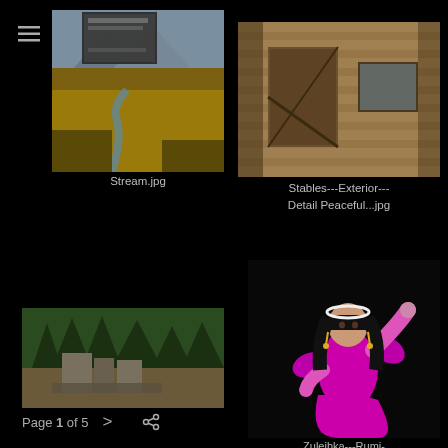[Figure (photo): Menu icon (hamburger) at top left]
[Figure (photo): Photograph of a stream with autumn foliage and golden grasses in a valley]
Stream.jpg
[Figure (photo): Photograph of exterior of wooden stables building with weathered planks and window]
Stables---Exterior---Detail Peaceful...jpg
[Figure (photo): Photograph of stone ruins surrounded by pine trees in mountains]
[Figure (photo): Photograph of a flamenco or belly dancer in a bright magenta/pink outfit performing on a dark stage]
Zuleihka---Rumi-
Page 1 of 5